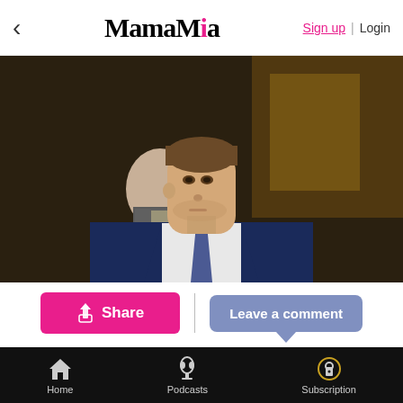MamaMia — Sign up | Login
[Figure (photo): Close-up photo of a young man in a navy suit and patterned tie, with a serious expression, exiting a building. An older man in a suit is visible behind him.]
Share | Leave a comment
A jury has found NRL footballer Jack de Belin not guilty of one charge of sexually assaulting a 19-year-old
Home | Podcasts | Subscription